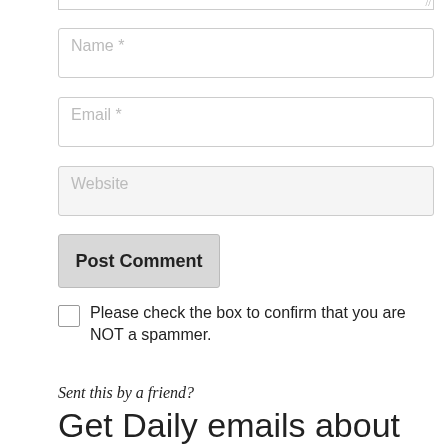[Figure (screenshot): Top edge of a textarea input with resize handle visible at bottom-right corner]
Name *
Email *
Website
Post Comment
Please check the box to confirm that you are NOT a spammer.
Sent this by a friend?
Get Daily emails about this day in history